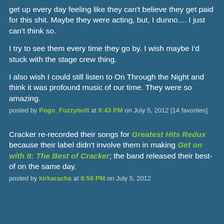get up every day feeling like they can't believe they get paid for this shit. Maybe they were acting, but, I dunno.... I just can't think so.
I try to see them every time they go by. I wish maybe I'd stuck with the stage crew thing.
I also wish I could still listen to On Through the Night and think it was profound music of our time. They were so amazing.
posted by Pogo_Fuzzybutt at 6:43 PM on July 5, 2012 [14 favorites]
Cracker re-recorded their songs for Greatest Hits Redux because their label didn't involve them in making Get on with It: The Best of Cracker; the band released their best-of on the same day.
posted by kirkaracha at 6:56 PM on July 5, 2012